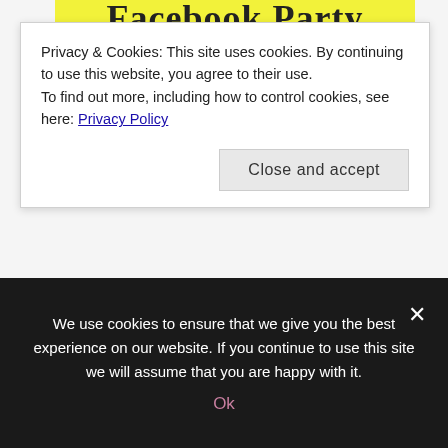[Figure (screenshot): Partial yellow banner with 'Facebook Party' text visible at top]
Privacy & Cookies: This site uses cookies. By continuing to use this website, you agree to their use.
To find out more, including how to control cookies, see here: Privacy Policy
Close and accept
[Figure (screenshot): Partial yellow rounded banner with 'Q&A and Giveaways from 4 blogs' text]
PARENTING
RSVP for Mommy Time Facebook Party, August 21st!
We use cookies to ensure that we give you the best experience on our website. If you continue to use this site we will assume that you are happy with it.
Ok